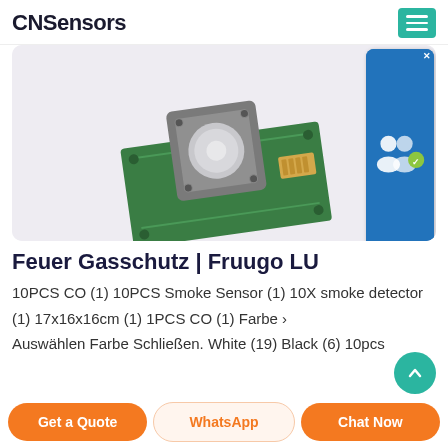CNSensors
[Figure (photo): A green PCB circuit board with a round gray sensor module on top and a white connector, viewed from above against a light purple/grey background.]
[Figure (screenshot): Live Chat button widget showing two user silhouettes and a green 'Live Chat' label.]
Feuer Gasschutz | Fruugo LU
10PCS CO (1) 10PCS Smoke Sensor (1) 10X smoke detector (1) 17x16x16cm (1) 1PCS CO (1) Farbe › Auswählen Farbe Schließen. White (19) Black (6) 10pcs Smoke Detector (1) Ausgeschaltet (1)